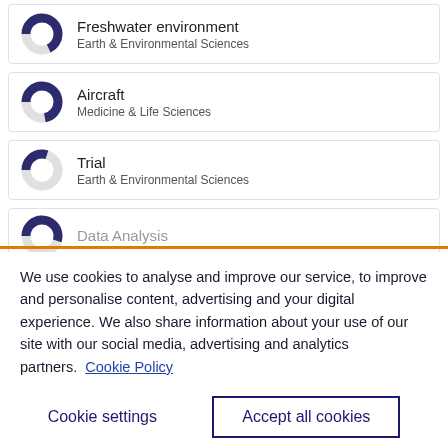Freshwater environment — Earth & Environmental Sciences
Aircraft — Medicine & Life Sciences
Trial — Earth & Environmental Sciences
Data Analysis (partially visible)
We use cookies to analyse and improve our service, to improve and personalise content, advertising and your digital experience. We also share information about your use of our site with our social media, advertising and analytics partners. Cookie Policy
Cookie settings
Accept all cookies